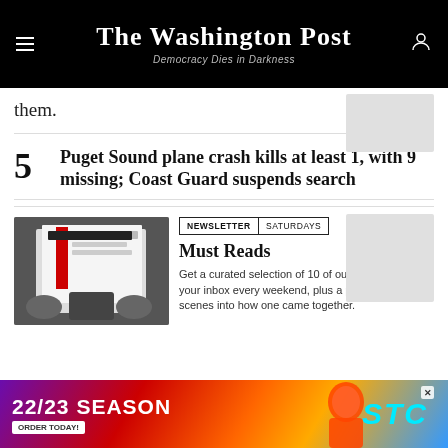The Washington Post — Democracy Dies in Darkness
them.
Puget Sound plane crash kills at least 1, with 9 missing; Coast Guard suspends search
[Figure (photo): Black and white photo of a person reading The Washington Post newspaper]
NEWSLETTER | SATURDAYS
Must Reads
Get a curated selection of 10 of our best stories in your inbox every weekend, plus a peek behind the scenes into how one came together.
[Figure (photo): Advertisement banner: 22/23 SEASON — ORDER TODAY! with STC logo and colorful background]